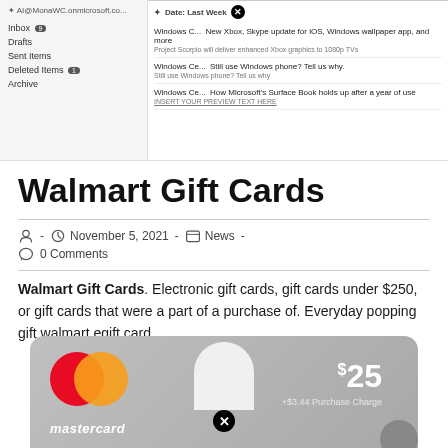[Figure (screenshot): Email client interface showing inbox folders on the left (AI@MonaWC.onmicrosoft.co..., Inbox 9, Drafts, Sent Items, Deleted Items 1, Archive) and email list on the right with date header 'Last Week' and three email previews about Windows news.]
Walmart Gift Cards
- November 5, 2021 - News - 0 Comments
Walmart Gift Cards. Electronic gift cards, gift cards under $250, or gift cards that were a part of a purchase of. Everyday popping gift walmart egift card.
[Figure (photo): Mastercard gift card image showing mastercard logo circles (red and orange), a card hanger notch, $25 price with +$3.44 Purchase Charge label, and a close/cancel button icon at bottom.]